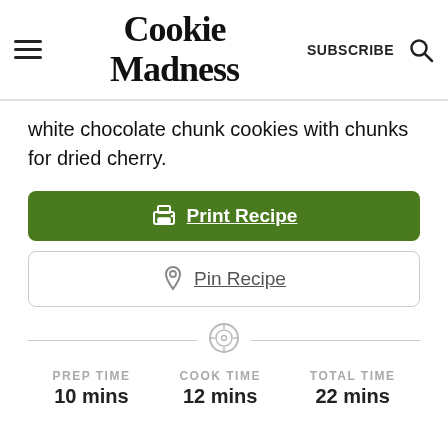Cookie Madness
white chocolate chunk cookies with chunks for dried cherry.
Print Recipe
Pin Recipe
PREP TIME 10 mins  COOK TIME 12 mins  TOTAL TIME 22 mins